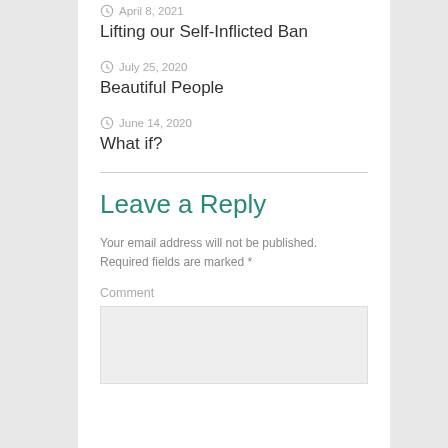April 8, 2021
Lifting our Self-Inflicted Ban
July 25, 2020
Beautiful People
June 14, 2020
What if?
Leave a Reply
Your email address will not be published. Required fields are marked *
Comment